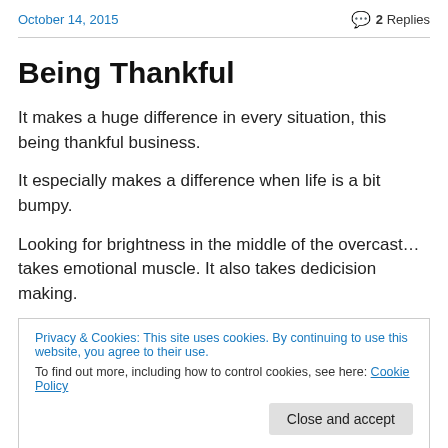October 14, 2015   2 Replies
Being Thankful
It makes a huge difference in every situation, this being thankful business.
It especially makes a difference when life is a bit bumpy.
Looking for brightness in the middle of the overcast… takes emotional muscle. It also takes dedicision making.
Privacy & Cookies: This site uses cookies. By continuing to use this website, you agree to their use.
To find out more, including how to control cookies, see here: Cookie Policy
Close and accept
a negative heart is not what He intended as a day to day